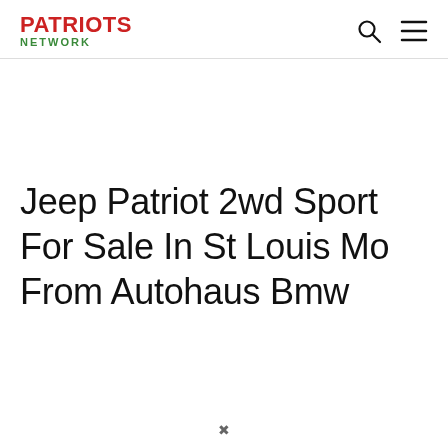PATRIOTS NETWORK
Jeep Patriot 2wd Sport For Sale In St Louis Mo From Autohaus Bmw